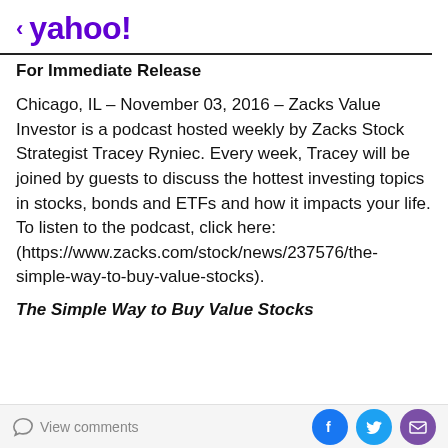< yahoo!
For Immediate Release
Chicago, IL – November 03, 2016 – Zacks Value Investor is a podcast hosted weekly by Zacks Stock Strategist Tracey Ryniec. Every week, Tracey will be joined by guests to discuss the hottest investing topics in stocks, bonds and ETFs and how it impacts your life. To listen to the podcast, click here: (https://www.zacks.com/stock/news/237576/the-simple-way-to-buy-value-stocks).
The Simple Way to Buy Value Stocks
View comments